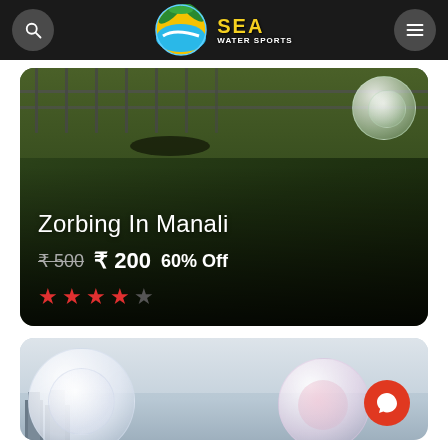SEA WATER SPORTS
[Figure (photo): Zorbing activity photo showing a green grassy hill with fence and a transparent zorb ball in the top right corner. Dark overlay at bottom.]
Zorbing In Manali
₹ 500  ₹ 200   60% Off
★★★★☆ (4 out of 5 stars)
[Figure (photo): Two large white transparent zorbing balls on a misty/foggy day with buildings visible in the background.]